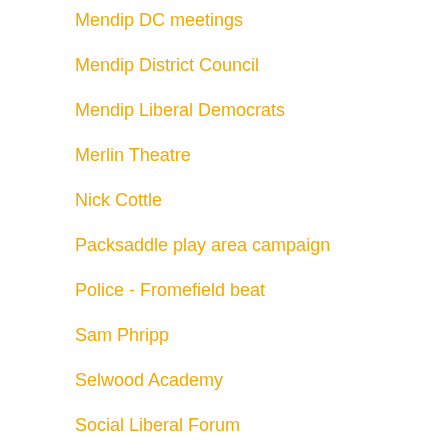Mendip DC meetings
Mendip District Council
Mendip Liberal Democrats
Merlin Theatre
Nick Cottle
Packsaddle play area campaign
Police - Fromefield beat
Sam Phripp
Selwood Academy
Social Liberal Forum
Somerset County Council